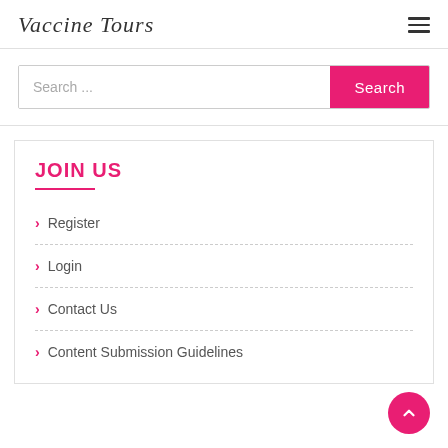Vaccine Tours
Search ...
JOIN US
Register
Login
Contact Us
Content Submission Guidelines